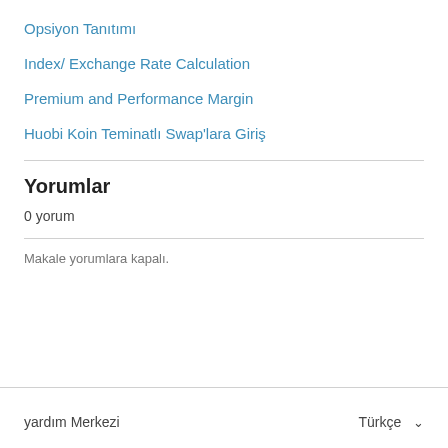Opsiyon Tanıtımı
Index/ Exchange Rate Calculation
Premium and Performance Margin
Huobi Koin Teminatlı Swap'lara Giriş
Yorumlar
0 yorum
Makale yorumlara kapalı.
yardım Merkezi    Türkçe ▾